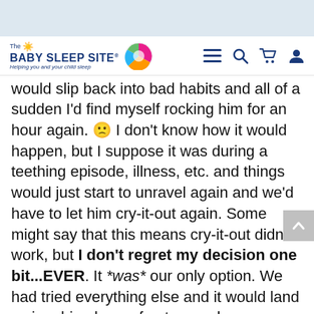The Baby Sleep Site® — Helping you and your child sleep
would slip back into bad habits and all of a sudden I'd find myself rocking him for an hour again. 🙁 I don't know how it would happen, but I suppose it was during a teething episode, illness, etc. and things would just start to unravel again and we'd have to let him cry-it-out again. Some might say that this means cry-it-out didn't work, but I don't regret my decision one bit...EVER. It *was* our only option. We had tried everything else and it would land us in a big abyss of not-enough-